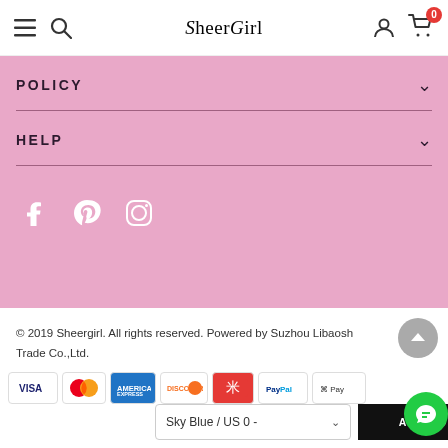SheerGirl navigation bar with hamburger menu, search, logo, account, and cart (0)
POLICY
HELP
[Figure (other): Social media icons: Facebook, Pinterest, Instagram on pink background]
© 2019 Sheergirl. All rights reserved. Powered by Suzhou Libaosh Trade Co.,Ltd.
[Figure (other): Payment method icons: VISA, MasterCard, American Express, Discover, gift card, PayPal, Apple Pay]
Sky Blue / US 0 -
ADD TO CART